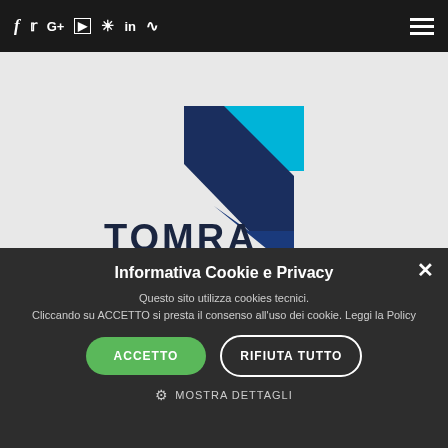f  𝕏  G+  YouTube  Instagram  in  RSS  [hamburger menu]
[Figure (logo): TOMRA company logo on light grey background — a geometric arrow-like mark in dark navy and cyan blue above the text TOMRA in bold dark navy capital letters]
Informativa Cookie e Privacy
Questo sito utilizza cookies tecnici. Cliccando su ACCETTO si presta il consenso all'uso dei cookie. Leggi la Policy
ACCETTO   RIFIUTA TUTTO
⚙ MOSTRA DETTAGLI